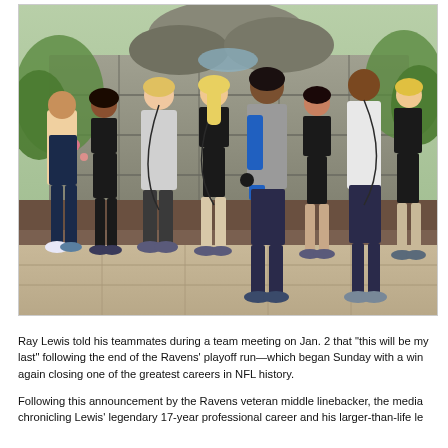[Figure (photo): Group photo of approximately 9-10 people in athletic/workout clothing standing outdoors in front of a stone waterfall and garden. Ray Lewis (in blue arm sleeve and gray shirt) is in the center of the group. Others wear black sports clothing and white shirts. They are posed on a stone patio.]
Ray Lewis told his teammates during a team meeting on Jan. 2 that "this will be my last" following the end of the Ravens' playoff run—which began Sunday with a win again closing one of the greatest careers in NFL history.
Following this announcement by the Ravens veteran middle linebacker, the media chronicling Lewis' legendary 17-year professional career and his larger-than-life le